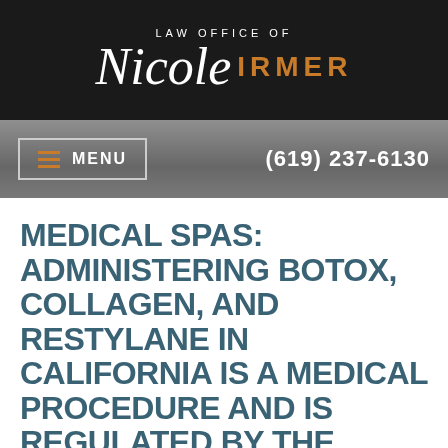LAW OFFICE OF Nicole IRMER
MENU  (619) 237-6130
MEDICAL SPAS: ADMINISTERING BOTOX, COLLAGEN, AND RESTYLANE IN CALIFORNIA IS A MEDICAL PROCEDURE AND IS REGULATED BY THE MEDICAL BOARD OF CALIFORNIA
By ...  Nicole ... [byline partial]